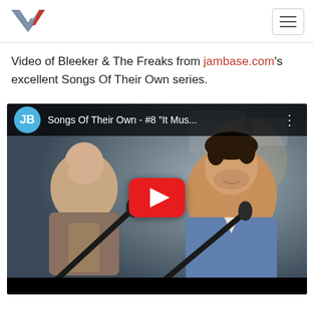Video of Bleeker & The Freaks from jambase.com's excellent Songs Of Their Own series.
[Figure (screenshot): YouTube video embed showing two musicians performing, with JamBase logo and title 'Songs Of Their Own - #8 "It Mus...' and a YouTube play button overlay.]